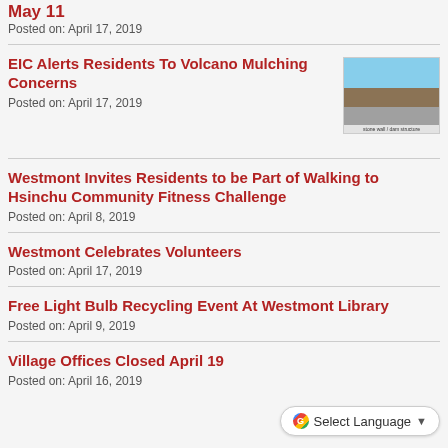May 11
Posted on: April 17, 2019
EIC Alerts Residents To Volcano Mulching Concerns
Posted on: April 17, 2019
[Figure (photo): Thumbnail photo of a stone wall or dam structure against a blue sky]
Westmont Invites Residents to be Part of Walking to Hsinchu Community Fitness Challenge
Posted on: April 8, 2019
Westmont Celebrates Volunteers
Posted on: April 17, 2019
Free Light Bulb Recycling Event At Westmont Library
Posted on: April 9, 2019
Village Offices Closed April 19
Posted on: April 16, 2019